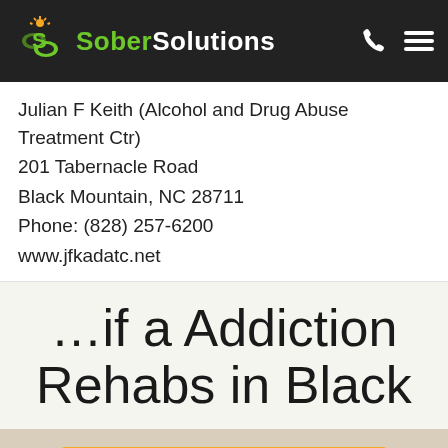[Figure (logo): Sober Solutions logo with green S icon and sun, green 'Sober' and white 'Solutions' text on dark background, with phone and menu icons on the right]
Julian F Keith (Alcohol and Drug Abuse Treatment Ctr)
201 Tabernacle Road
Black Mountain, NC 28711
Phone: (828) 257-6200
www.jfkadatc.net
…if a Addiction Rehabs in Black
Call now! 866-524-1361
Confidential Free Help | 24/7 Availability